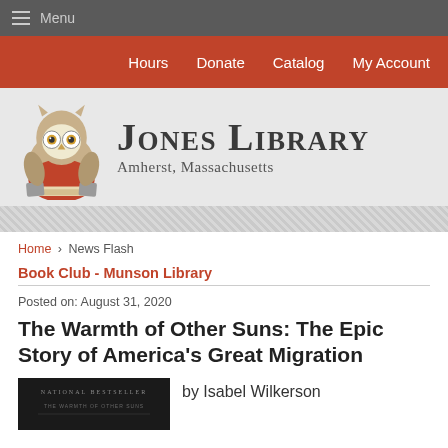Menu
Hours  Donate  Catalog  My Account
[Figure (logo): Jones Library owl mascot logo with text: JONES LIBRARY, Amherst, Massachusetts]
Home › News Flash
Book Club - Munson Library
Posted on: August 31, 2020
The Warmth of Other Suns: The Epic Story of America's Great Migration
by Isabel Wilkerson